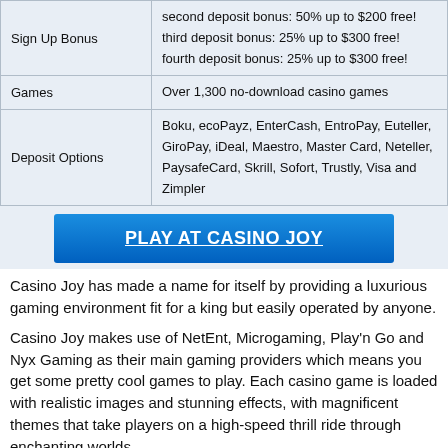|  |  |
| --- | --- |
| Sign Up Bonus | second deposit bonus: 50% up to $200 free!
third deposit bonus: 25% up to $300 free!
fourth deposit bonus: 25% up to $300 free! |
| Games | Over 1,300 no-download casino games |
| Deposit Options | Boku, ecoPayz, EnterCash, EntroPay, Euteller, GiroPay, iDeal, Maestro, Master Card, Neteller, PaysafeCard, Skrill, Sofort, Trustly, Visa and Zimpler |
PLAY AT CASINO JOY
Casino Joy has made a name for itself by providing a luxurious gaming environment fit for a king but easily operated by anyone.
Casino Joy makes use of NetEnt, Microgaming, Play'n Go and Nyx Gaming as their main gaming providers which means you get some pretty cool games to play. Each casino game is loaded with realistic images and stunning effects, with magnificent themes that take players on a high-speed thrill ride through enchanting worlds.